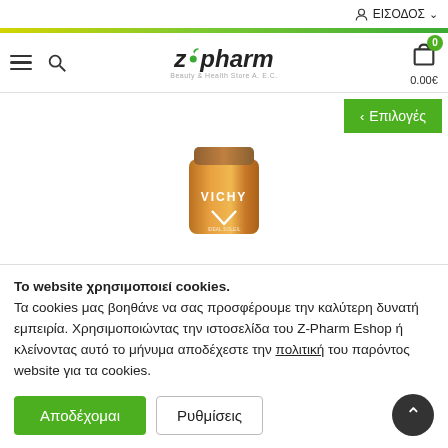ΕΙΣΟΔΟΣ
[Figure (logo): z•pharm Beauty & Health Store logo with green leaf]
[Figure (screenshot): Vichy product tube in gold/bronze packaging]
Το website χρησιμοποιεί cookies.
Τα cookies μας βοηθάνε να σας προσφέρουμε την καλύτερη δυνατή εμπειρία. Χρησιμοποιώντας την ιστοσελίδα του Z-Pharm Eshop ή κλείνοντας αυτό το μήνυμα αποδέχεστε την πολιτική του παρόντος website για τα cookies.
Αποδέχομαι
Ρυθμίσεις